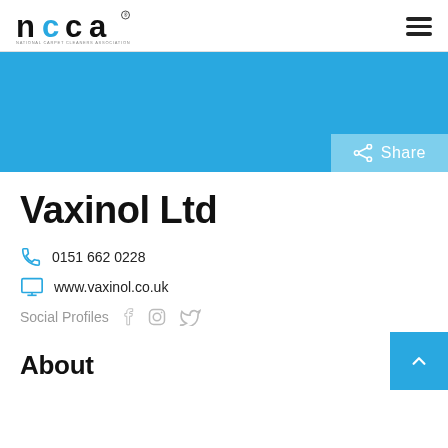NCCA - National Carpet Cleaners Association
[Figure (illustration): Blue banner background with Share button at bottom right]
Vaxinol Ltd
0151 662 0228
www.vaxinol.co.uk
Social Profiles
About